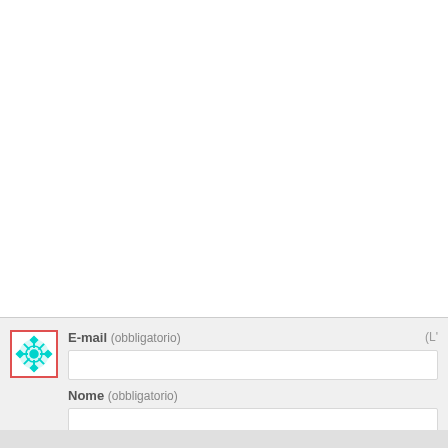[Figure (other): White comment text area box, blank]
[Figure (logo): Cyan/turquoise decorative geometric snowflake/mandala icon in a white square with red border outline]
E-mail (obbligatorio)  (L'
Nome (obbligatorio)
Sito web
Notificami nuovi commenti via e-mail
Notificami nuovi post via e-mail